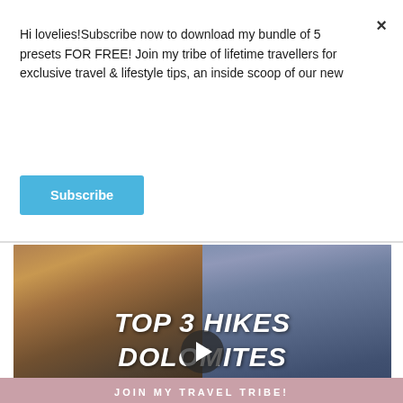Hi lovelies!Subscribe now to download my bundle of 5 presets FOR FREE! Join my tribe of lifetime travellers for exclusive travel & lifestyle tips, an inside scoop of our new
×
Subscribe
[Figure (screenshot): Embedded YouTube video player showing 'Top 3 Hikes Near Cortina d'Ampezz...' with mountain/Dolomites imagery. Text overlay reads 'TOP 3 HIKES DOLOMITES'. Video controls show 00:00 current time and 12:48 duration.]
JOIN MY TRAVEL TRIBE!